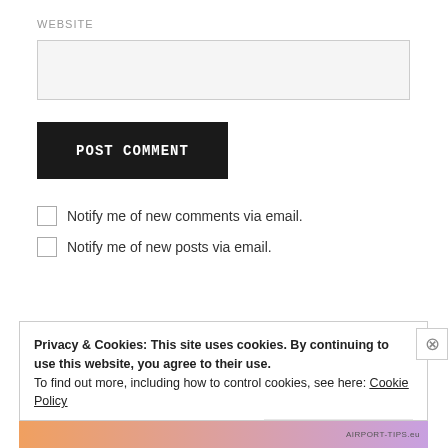WEBSITE
[Figure (other): Empty text input field for website URL]
[Figure (other): POST COMMENT button, black background with white monospace text]
Notify me of new comments via email.
Notify me of new posts via email.
Privacy & Cookies: This site uses cookies. By continuing to use this website, you agree to their use.
To find out more, including how to control cookies, see here: Cookie Policy
Close and accept